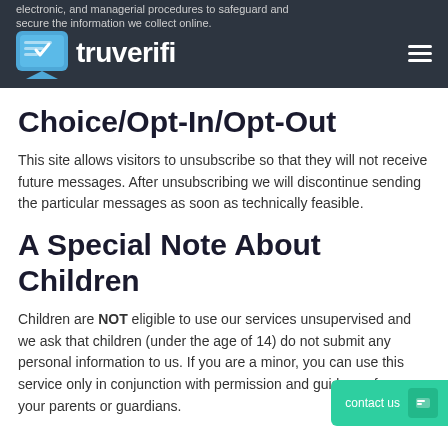electronic, and managerial procedures to safeguard and secure the information we collect online. [truverifi logo]
Choice/Opt-In/Opt-Out
This site allows visitors to unsubscribe so that they will not receive future messages. After unsubscribing we will discontinue sending the particular messages as soon as technically feasible.
A Special Note About Children
Children are NOT eligible to use our services unsupervised and we ask that children (under the age of 14) do not submit any personal information to us. If you are a minor, you can use this service only in conjunction with permission and guidance from your parents or guardians.